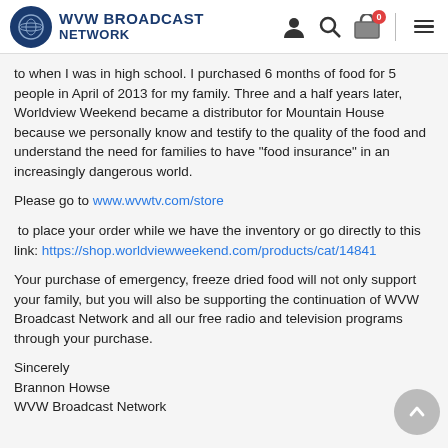WVW BROADCAST NETWORK
to when I was in high school. I purchased 6 months of food for 5 people in April of 2013 for my family. Three and a half years later, Worldview Weekend became a distributor for Mountain House because we personally know and testify to the quality of the food and understand the need for families to have "food insurance" in an increasingly dangerous world.
Please go to www.wvwtv.com/store
to place your order while we have the inventory or go directly to this link: https://shop.worldviewweekend.com/products/cat/14841
Your purchase of emergency, freeze dried food will not only support your family, but you will also be supporting the continuation of WVW Broadcast Network and all our free radio and television programs through your purchase.
Sincerely
Brannon Howse
WVW Broadcast Network